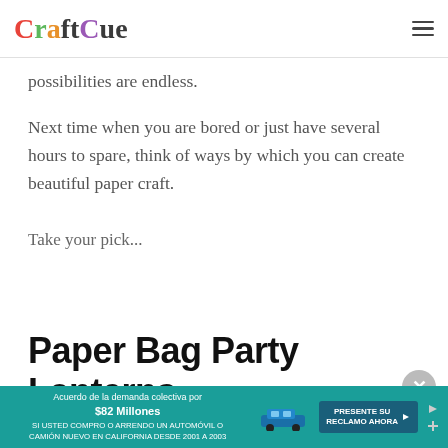CraftCue
possibilities are endless.
Next time when you are bored or just have several hours to spare, think of ways by which you can create beautiful paper craft.
Take your pick...
Paper Bag Party Lanterns
[Figure (other): Advertisement banner: Acuerdo de la demanda colectiva por $82 Millones. SI USTED COMPRO O ARRENDO UN AUTOMÓVIL O CAMIÓN NUEVO EN CALIFORNIA DESDE 2001 A 2003. PRESENTE SU RECLAMO AHORA.]